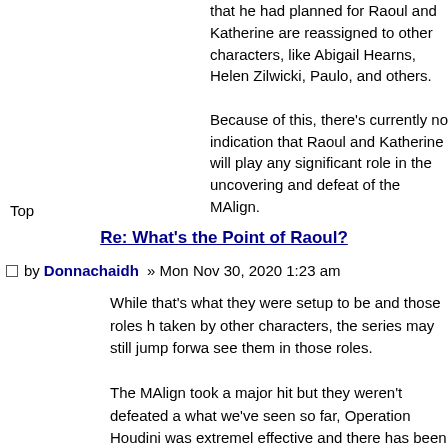that he had planned for Raoul and Katherine are reassigned to other characters, like Abigail Hearns, Helen Zilwicki, Paulo, and others.
Because of this, there's currently no indication that Raoul and Katherine will play any significant role in the uncovering and defeat of the MAlign.
Top
Re: What's the Point of Raoul?
by Donnachaidh » Mon Nov 30, 2020 1:23 am
While that's what they were setup to be and those roles h... taken by other characters, the series may still jump forwa... see them in those roles.
The MAlign took a major hit but they weren't defeated a... what we've seen so far, Operation Houdini was extremel... effective and there has been reference to a wormhole (be... Torch) that no ship had successfully transited so after a f... attempts they would likely stop trying to transit and not ... Darius that way. From everything that's been shown of th... MAlign, it would be entirely possible for them to (in ger...